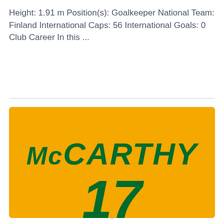Height: 1.91 m Position(s): Goalkeeper National Team: Finland International Caps: 56 International Goals: 0 Club Career In this ...
[Figure (illustration): Yellow jersey/shirt graphic with the name 'McCARTHY' in bold dark green italic letters and the number '17' in bold dark green italic digits below, on a golden-yellow background.]